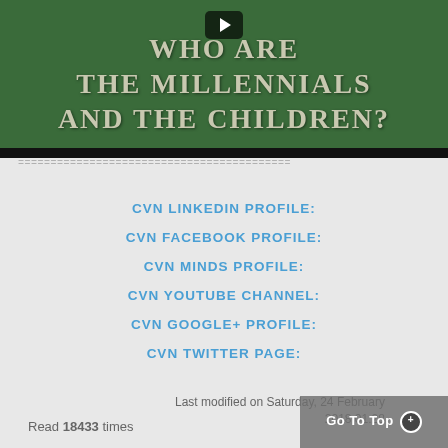[Figure (screenshot): Video thumbnail with dark green background showing text 'WHO ARE THE MILLENNIALS AND THE CHILDREN?' with a YouTube play button overlay]
========================================
CVN LINKEDIN PROFILE:
CVN FACEBOOK PROFILE:
CVN MINDS PROFILE:
CVN YOUTUBE CHANNEL:
CVN GOOGLE+ PROFILE:
CVN TWITTER PAGE:
Read 18433 times   Last modified on Saturday, 24 February 2018 01:28